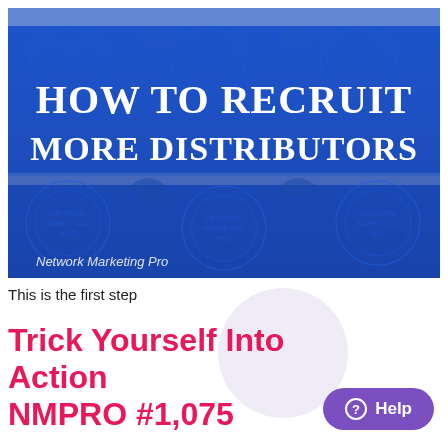[Figure (illustration): Thumbnail image with blue background featuring decorative circular patterns and text 'HOW TO RECRUIT MORE DISTRIBUTORS' in large serif white font, with 'Network Marketing Pro' watermark at bottom left]
This is the first step
Trick Yourself Into Action
NMPRO #1,075